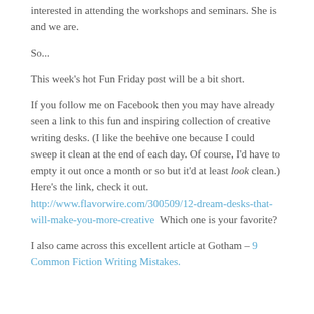interested in attending the workshops and seminars. She is and we are.
So...
This week's hot Fun Friday post will be a bit short.
If you follow me on Facebook then you may have already seen a link to this fun and inspiring collection of creative writing desks. (I like the beehive one because I could sweep it clean at the end of each day. Of course, I'd have to empty it out once a month or so but it'd at least look clean.) Here's the link, check it out. http://www.flavorwire.com/300509/12-dream-desks-that-will-make-you-more-creative  Which one is your favorite?
I also came across this excellent article at Gotham – 9 Common Fiction Writing Mistakes.